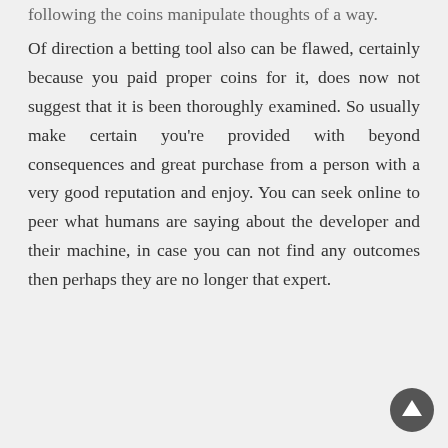following the coins manipulate thoughts of a way.
Of direction a betting tool also can be flawed, certainly because you paid proper coins for it, does now not suggest that it is been thoroughly examined. So usually make certain you're provided with beyond consequences and great purchase from a person with a very good reputation and enjoy. You can seek online to peer what humans are saying about the developer and their machine, in case you can not find any outcomes then perhaps they are no longer that expert.
Author: admin
[Figure (illustration): Gray avatar/user profile icon circle]
Archeologists have been the primary ones to discover evidence of gambling behaviors in actual...